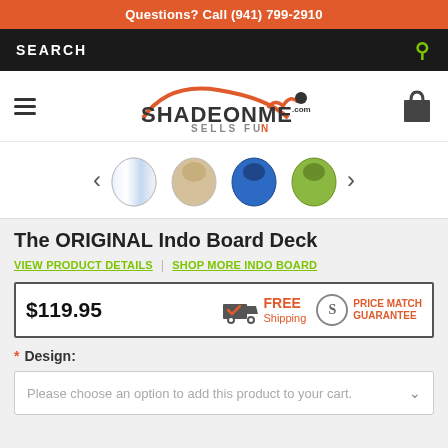Questions? Call (941) 799-2910
SEARCH
[Figure (logo): ShadeOnMe.com Sells Fun logo with orange arc and dot]
[Figure (photo): Product carousel showing multiple Indo Board Deck designs]
The ORIGINAL Indo Board Deck
VIEW PRODUCT DETAILS | SHOP MORE INDO BOARD
$119.95 FREE Shipping PRICE MATCH GUARANTEE
* Design:
Please choose an option to add this product to your cart.